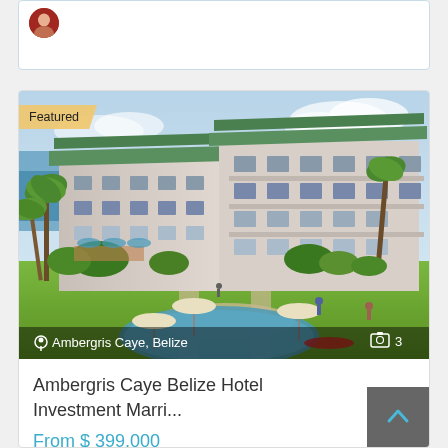[Figure (illustration): Top card with logo/avatar, partially visible, white card with blue border]
[Figure (photo): Artistic architectural rendering of a luxury hotel resort in Ambergris Caye, Belize. Shows a multi-story building with green roofs, palm trees, pool area with umbrellas and loungers, tropical landscaping, and ocean view in the background. 'Featured' badge in top left. Location label 'Ambergris Caye, Belize' and camera icon with '3' in bottom bar.]
Ambergris Caye Belize Hotel Investment Marri...
From $ 399,000